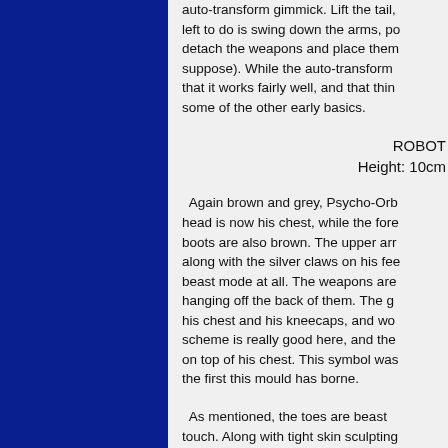auto-transform gimmick. Lift the tail, left to do is swing down the arms, po detach the weapons and place them suppose). While the auto-transform that it works fairly well, and that thin some of the other early basics.
ROBOT
Height: 10cm
Again brown and grey, Psycho-Orb head is now his chest, while the fore boots are also brown. The upper arr along with the silver claws on his fee beast mode at all. The weapons are hanging off the back of them. The g his chest and his kneecaps, and wo scheme is really good here, and the on top of his chest. This symbol was the first this mould has borne.
As mentioned, the toes are beast touch. Along with tight skin sculpting very organic robot mode. In fact the which is largely hidden behind the b robotic, although it makes heavy us